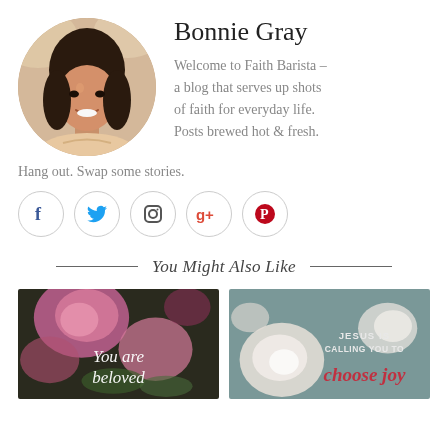[Figure (photo): Circular portrait photo of Bonnie Gray, a smiling Asian woman with long dark hair]
Bonnie Gray
Welcome to Faith Barista – a blog that serves up shots of faith for everyday life. Posts brewed hot & fresh. Hang out. Swap some stories.
[Figure (infographic): Social media icons: Facebook, Twitter, Instagram, Google+, Pinterest — each in a circle outline]
You Might Also Like
[Figure (photo): Floral image with pink peonies and text overlay: You are beloved]
[Figure (photo): Floral image with pink roses and text overlay: JESUS IS CALLING YOU TO choose joy]